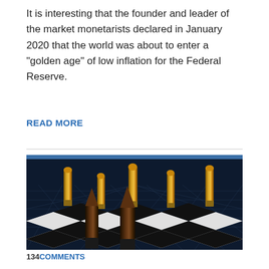It is interesting that the founder and leader of the market monetarists declared in January 2020 that the world was about to enter a "golden age" of low inflation for the Federal Reserve.
READ MORE
[Figure (photo): 3D rendered image of gold and dark bullets/cartridges standing upright on a black and white checkerboard surface against a dark background with grid lines]
134 COMMENTS